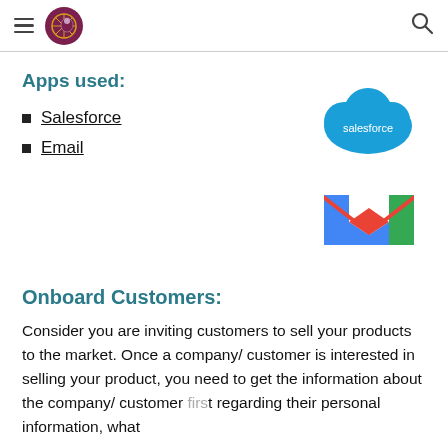Apps used:
Salesforce
Email
[Figure (logo): Salesforce cloud logo — blue cloud shape with 'salesforce' text in white]
[Figure (logo): Gmail 'M' logo — colorful M shape in red, yellow, blue, green]
Onboard Customers:
Consider you are inviting customers to sell your products to the market. Once a company/ customer is interested in selling your product, you need to get the information about the company/ customer first regarding their personal information, what